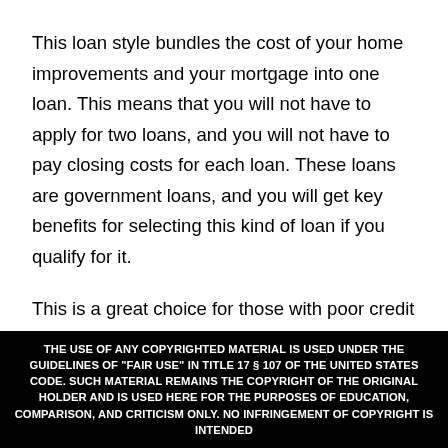This loan style bundles the cost of your home improvements and your mortgage into one loan. This means that you will not have to apply for two loans, and you will not have to pay closing costs for each loan. These loans are government loans, and you will get key benefits for selecting this kind of loan if you qualify for it.
This is a great choice for those with poor credit who also need to undertake large projects for home improvement. This loan has a low down payment
THE USE OF ANY COPYRIGHTED MATERIAL IS USED UNDER THE GUIDELINES OF "FAIR USE" IN TITLE 17 § 107 OF THE UNITED STATES CODE. SUCH MATERIAL REMAINS THE COPYRIGHT OF THE ORIGINAL HOLDER AND IS USED HERE FOR THE PURPOSES OF EDUCATION, COMPARISON, AND CRITICISM ONLY. NO INFRINGEMENT OF COPYRIGHT IS INTENDED